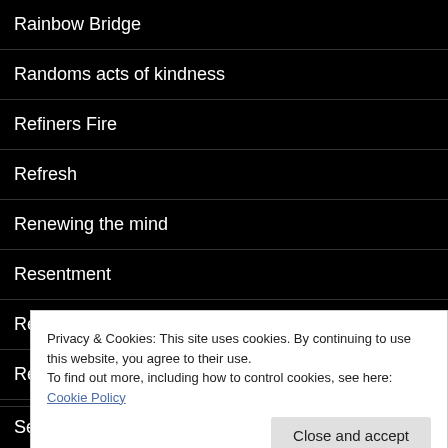Rainbow Bridge
Randoms acts of kindness
Refiners Fire
Refresh
Renewing the mind
Resentment
Rest in Him
Restorarion
Restoration
Privacy & Cookies: This site uses cookies. By continuing to use this website, you agree to their use.
To find out more, including how to control cookies, see here: Cookie Policy
Serving